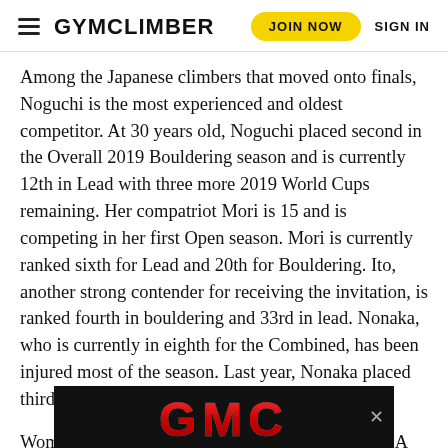GYMCLIMBER | JOIN NOW | SIGN IN
Among the Japanese climbers that moved onto finals, Noguchi is the most experienced and oldest competitor. At 30 years old, Noguchi placed second in the Overall 2019 Bouldering season and is currently 12th in Lead with three more 2019 World Cups remaining. Her compatriot Mori is 15 and is competing in her first Open season. Mori is currently ranked sixth for Lead and 20th for Bouldering. Ito, another strong contender for receiving the invitation, is ranked fourth in bouldering and 33rd in lead. Nonaka, who is currently in eighth for the Combined, has been injured most of the season. Last year, Nonaka placed third in Combined, behind Noguchi and Garnbret.
Women’s Combined finals start at 1:30 a.m. MST. A link to the livestream is below.
[Figure (logo): GMC advertisement banner with red GMC logo on black background]